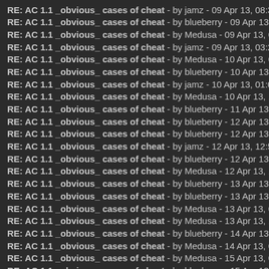RE: AC 1.1 _obvious_ cases of cheat - by jamz - 09 Apr 13, 08:35AM
RE: AC 1.1 _obvious_ cases of cheat - by blueberry - 09 Apr 13, 10:51AM
RE: AC 1.1 _obvious_ cases of cheat - by Medusa - 09 Apr 13, 02:27PM
RE: AC 1.1 _obvious_ cases of cheat - by jamz - 09 Apr 13, 03:27PM
RE: AC 1.1 _obvious_ cases of cheat - by Medusa - 10 Apr 13, 08:45AM
RE: AC 1.1 _obvious_ cases of cheat - by blueberry - 10 Apr 13, 11:06AM
RE: AC 1.1 _obvious_ cases of cheat - by jamz - 10 Apr 13, 01:08PM
RE: AC 1.1 _obvious_ cases of cheat - by Medusa - 10 Apr 13, 11:15PM
RE: AC 1.1 _obvious_ cases of cheat - by blueberry - 11 Apr 13, 12:06PM
RE: AC 1.1 _obvious_ cases of cheat - by blueberry - 12 Apr 13, 03:08AM
RE: AC 1.1 _obvious_ cases of cheat - by blueberry - 12 Apr 13, 09:28AM
RE: AC 1.1 _obvious_ cases of cheat - by jamz - 12 Apr 13, 12:51PM
RE: AC 1.1 _obvious_ cases of cheat - by blueberry - 12 Apr 13, 09:43PM
RE: AC 1.1 _obvious_ cases of cheat - by Medusa - 12 Apr 13, 10:11PM
RE: AC 1.1 _obvious_ cases of cheat - by blueberry - 13 Apr 13, 09:58AM
RE: AC 1.1 _obvious_ cases of cheat - by blueberry - 13 Apr 13, 01:03PM
RE: AC 1.1 _obvious_ cases of cheat - by Medusa - 13 Apr 13, 09:06PM
RE: AC 1.1 _obvious_ cases of cheat - by Medusa - 13 Apr 13, 11:32PM
RE: AC 1.1 _obvious_ cases of cheat - by blueberry - 14 Apr 13, 12:07PM
RE: AC 1.1 _obvious_ cases of cheat - by Medusa - 14 Apr 13, 07:48PM
RE: AC 1.1 _obvious_ cases of cheat - by Medusa - 15 Apr 13, 07:18AM
RE: AC 1.1 _obvious_ cases of cheat - by blueberry - 15 Apr 13, 09:42AM
RE: AC 1.1 _obvious_ cases of cheat - by UKnowMe? - 15 Apr 13, 03:50PM
RE: AC 1.1 _obvious_ cases of cheat - by blueberry - 16 Apr 13, 10:57AM
RE: AC 1.1 _obvious_ cases of cheat - by blueberry - 18 Apr 13, 09:10AM